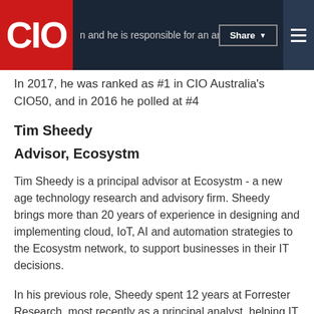CIO | n and he is responsible for an annual budget | Share | ≡
In 2017, he was ranked as #1 in CIO Australia's CIO50, and in 2016 he polled at #4
Tim Sheedy
Advisor, Ecosystm
Tim Sheedy is a principal advisor at Ecosystm - a new age technology research and advisory firm. Sheedy brings more than 20 years of experience in designing and implementing cloud, IoT, AI and automation strategies to the Ecosystm network, to support businesses in their IT decisions.
In his previous role, Sheedy spent 12 years at Forrester Research, most recently as a principal analyst, helping IT